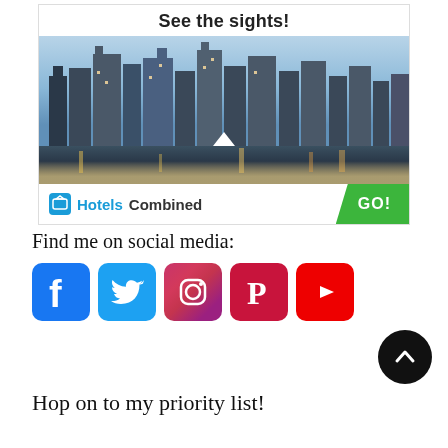[Figure (photo): HotelsCombined advertisement showing Singapore city skyline at night with water reflections, 'See the sights!' heading, Hotels Combined branding, and green GO! button]
Find me on social media:
[Figure (infographic): Row of social media icons: Facebook (blue), Twitter (blue), Instagram (gradient), Pinterest (dark red), YouTube (red)]
Hop on to my priority list!